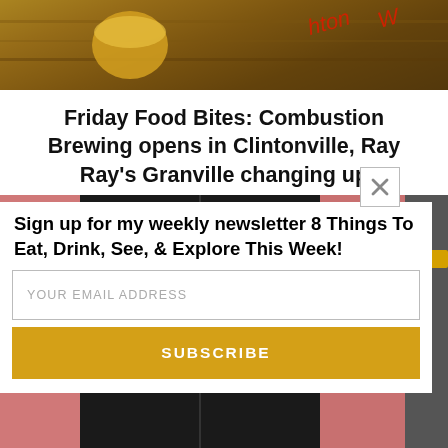[Figure (photo): Top portion of a photo showing a drink on a wooden surface with red/orange writing visible]
Friday Food Bites: Combustion Brewing opens in Clintonville, Ray Ray’s Granville changing up
[Figure (photo): Storefront photo with pink walls and green neon sign visible through dark window]
Sign up for my weekly newsletter 8 Things To Eat, Drink, See, & Explore This Week!
YOUR EMAIL ADDRESS
SUBSCRIBE